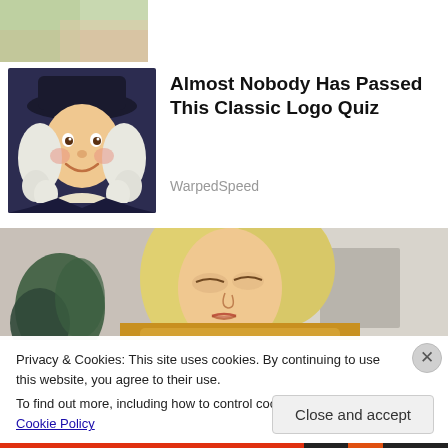[Figure (photo): Partial top image, likely hands or an abstract background with green and skin tones]
[Figure (illustration): Quaker Oats mascot figure — a smiling man with white curly wig and dark hat against dark background]
Almost Nobody Has Passed This Classic Logo Quiz
WarpedSpeed
[Figure (photo): Young blonde woman looking down, wearing yellow/mustard knit sweater, with green plant and neutral background]
Privacy & Cookies: This site uses cookies. By continuing to use this website, you agree to their use.
To find out more, including how to control cookies, see here: Cookie Policy
Close and accept